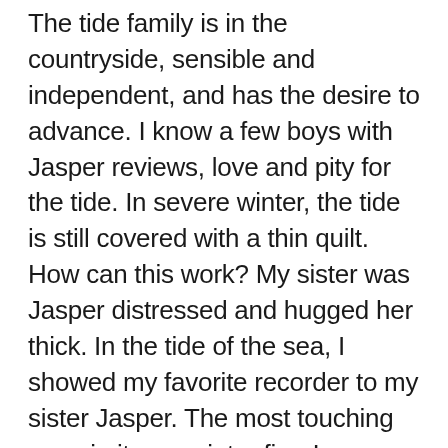The tide family is in the countryside, sensible and independent, and has the desire to advance. I know a few boys with Jasper reviews, love and pity for the tide. In severe winter, the tide is still covered with a thin quilt. How can this work? My sister was Jasper distressed and hugged her thick. In the tide of the sea, I showed my favorite recorder to my sister Jasper. The most touching song in it was winter fire. In an autumn season when maple leaves became red, the factory organized members to travel to Qianshan. Next, during the National Day holiday, the tide accidentally said: I will go home to harvest. Jasper lost, like Lost Soul: How can I feel like this? Am I in love with him? Jasper beat his heart. The tide was harvested back. Seeing Jasper, they were full of spring breeze. They were relatively speechless, staring at each other and approaching